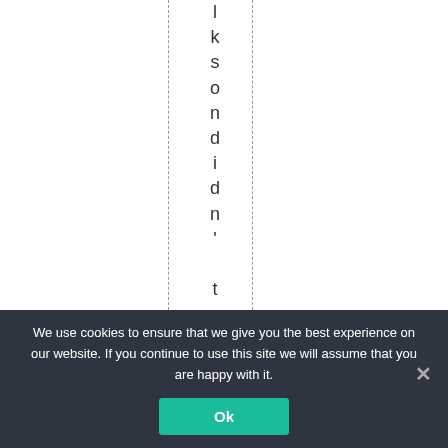lksondidn't mention
We use cookies to ensure that we give you the best experience on our website. If you continue to use this site we will assume that you are happy with it.